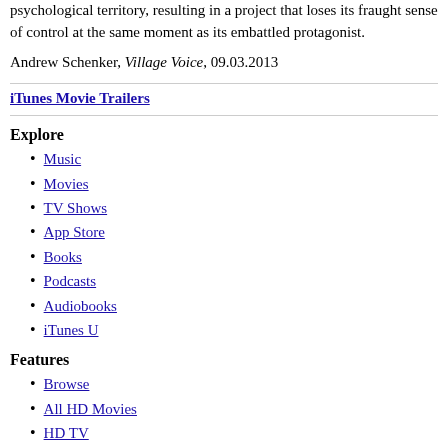psychological territory, resulting in a project that loses its fraught sense of control at the same moment as its embattled protagonist.
Andrew Schenker, Village Voice, 09.03.2013
iTunes Movie Trailers
Explore
Music
Movies
TV Shows
App Store
Books
Podcasts
Audiobooks
iTunes U
Features
Browse
All HD Movies
HD TV